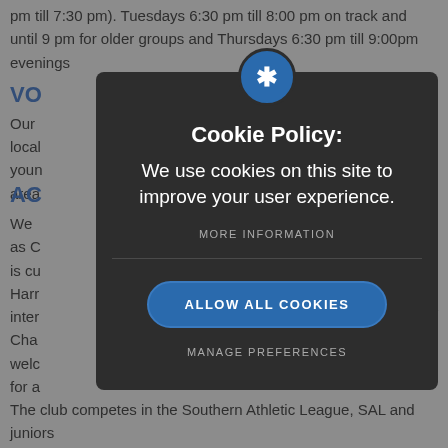pm till 7:30 pm). Tuesdays 6:30 pm till 8:00 pm on track and until 9 pm for older groups and Thursdays 6:30 pm till 9:00pm evenings
VO
Our ... from the local ... or young ... bounding area...
AC
We ... such as C... ro who is cu... Naomi Harr... inter... 200m Cha... a welc... for a...
[Figure (screenshot): Cookie policy modal dialog with dark background. Contains a star icon in a blue circle at top, 'Cookie Policy:' title in bold white, body text 'We use cookies on this site to improve your user experience.', 'MORE INFORMATION' link in grey uppercase, a horizontal divider, a blue pill-shaped 'ALLOW ALL COOKIES' button, and 'MANAGE PREFERENCES' link in grey uppercase.]
The club competes in the Southern Athletic League, SAL and juniors...